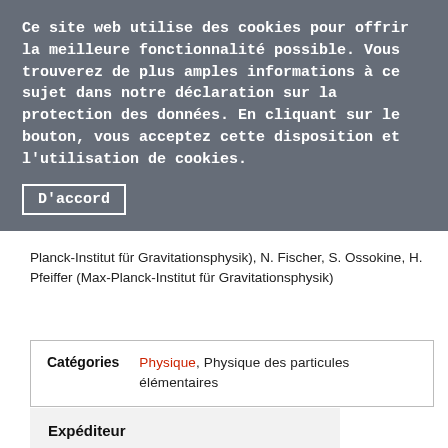Ce site web utilise des cookies pour offrir la meilleure fonctionnalité possible. Vous trouverez de plus amples informations à ce sujet dans notre déclaration sur la protection des données. En cliquant sur le bouton, vous acceptez cette disposition et l'utilisation de cookies.
D'accord
Planck-Institut für Gravitationsphysik), N. Fischer, S. Ossokine, H. Pfeiffer (Max-Planck-Institut für Gravitationsphysik)
| Catégories |  |
| --- | --- |
| Physique, Physique des particules élémentaires |  |
Expéditeur
CHIPP